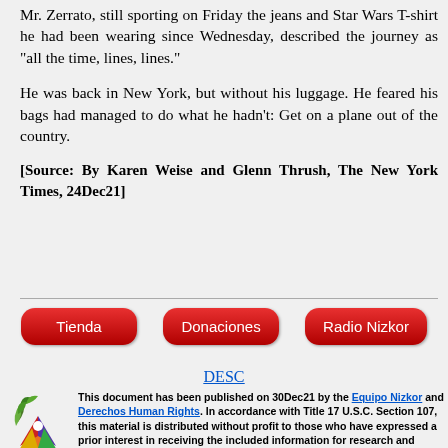Mr. Zerrato, still sporting on Friday the jeans and Star Wars T-shirt he had been wearing since Wednesday, described the journey as “all the time, lines, lines.”
He was back in New York, but without his luggage. He feared his bags had managed to do what he hadn't: Get on a plane out of the country.
[Source: By Karen Weise and Glenn Thrush, The New York Times, 24Dec21]
[Figure (infographic): Three red rounded-rectangle buttons labeled Tienda, Donaciones, Radio Nizkor]
DESC
[Figure (logo): Nizkor colorful pinwheel/triangles logo]
This document has been published on 30Dec21 by the Equipo Nizkor and Derechos Human Rights. In accordance with Title 17 U.S.C. Section 107, this material is distributed without profit to those who have expressed a prior interest in receiving the included information for research and educational purposes.